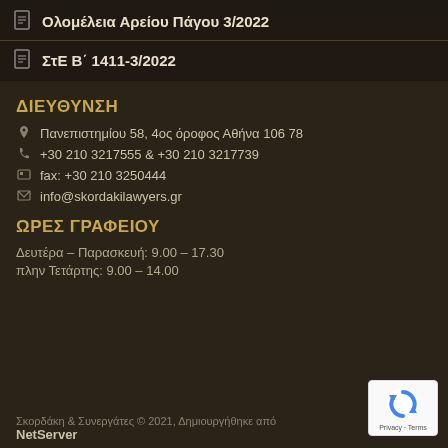Ολομέλεια Αρείου Πάγου 3/2022
ΣτΕ Β΄ 1411-3/2022
ΔΙΕΥΘΥΝΣΗ
Πανεπιστημίου 58, 4ος όροφος Αθήνα 106 78
+30 210 3217555 & +30 210 3217739
fax: +30 210 3250444
info@skordakilawyers.gr
ΩΡΕΣ ΓΡΑΦΕΙΟΥ
Δευτέρα – Παρασκευή: 9.00 – 17.30
πλην Τετάρτης: 9.00 – 14.00
Σκορδάκη & Συνεργάτες © 2021, Δημιουργήθηκε από NetServer